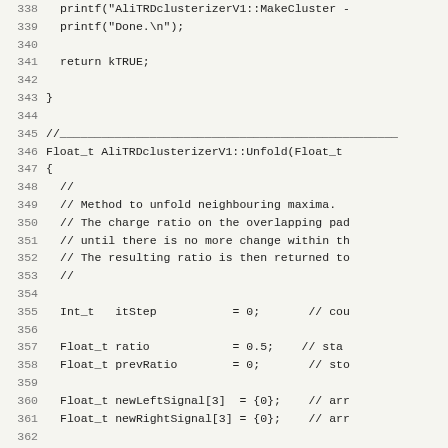[Figure (screenshot): C++ source code listing showing lines 338-370 of AliTRDclusterizerV1, including printf statements, return kTRUE, closing brace, and beginning of Unfold function with variable declarations and iteration loop.]